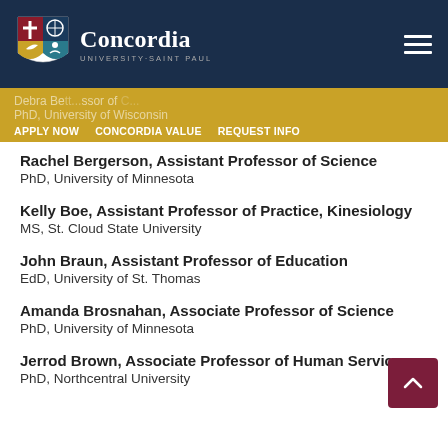Concordia University Saint Paul
Debra Be... Professor of ... PhD, University of Wisconsin
Rachel Bergerson, Assistant Professor of Science
PhD, University of Minnesota
Kelly Boe, Assistant Professor of Practice, Kinesiology
MS, St. Cloud State University
John Braun, Assistant Professor of Education
EdD, University of St. Thomas
Amanda Brosnahan, Associate Professor of Science
PhD, University of Minnesota
Jerrod Brown, Associate Professor of Human Services
PhD, Northcentral University